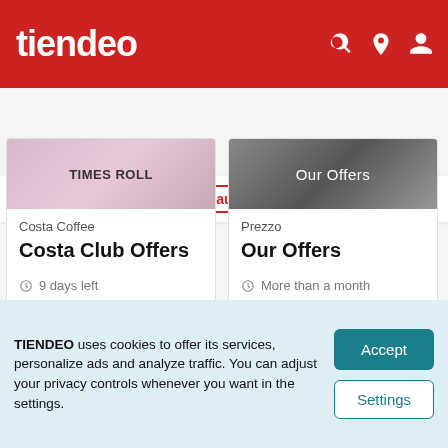tiendeo
Toys  Beauty  Sport  Restaurants  Books  Travel  Moto
[Figure (screenshot): Costa Coffee card image with TIMES ROLL text on pink/purple gradient background]
Costa Coffee
Costa Club Offers
9 days left
View Offers >
[Figure (screenshot): Prezzo card image with Our Offers text on dark grey background]
Prezzo
Our Offers
More than a month
View Offers >
Advertising
TIENDEO uses cookies to offer its services, personalize ads and analyze traffic. You can adjust your privacy controls whenever you want in the settings.
Accept
Settings